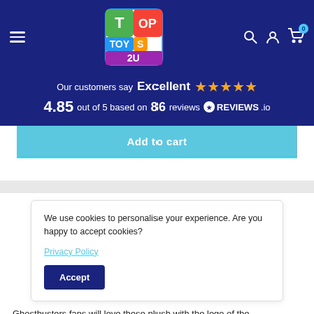Top Toys 2U - navigation header with hamburger menu, logo, search, account, and cart icons
Our customers say Excellent ★★★★★ 4.85 out of 5 based on 86 reviews REVIEWS.io
Add to cart
We use cookies to personalise your experience. Are you happy to accept cookies?
Privacy Policy
Accept
Ghostbusters fans will love these plush with the logo of the